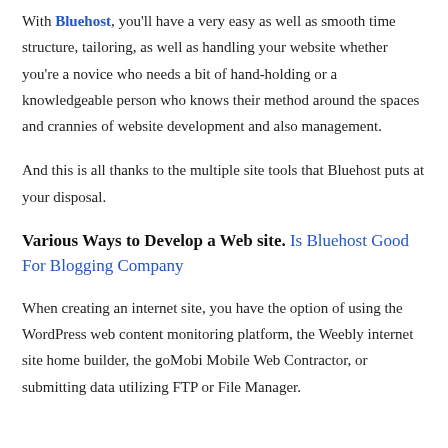With Bluehost, you'll have a very easy as well as smooth time structure, tailoring, as well as handling your website whether you're a novice who needs a bit of hand-holding or a knowledgeable person who knows their method around the spaces and crannies of website development and also management.
And this is all thanks to the multiple site tools that Bluehost puts at your disposal.
Various Ways to Develop a Web site. Is Bluehost Good For Blogging Company
When creating an internet site, you have the option of using the WordPress web content monitoring platform, the Weebly internet site home builder, the goMobi Mobile Web Contractor, or submitting data utilizing FTP or File Manager.